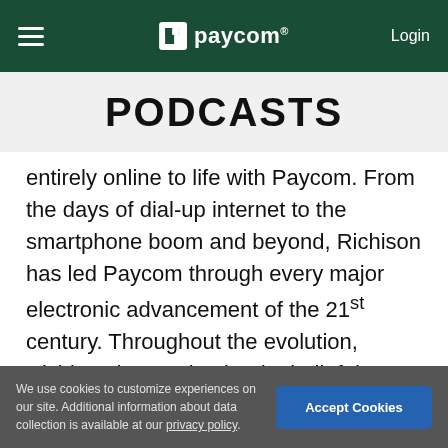☰  paycom®  Login
PODCASTS
entirely online to life with Paycom. From the days of dial-up internet to the smartphone boom and beyond, Richison has led Paycom through every major electronic advancement of the 21st century. Throughout the evolution, Richison has maintained a belief that HR tech is at its most effective when employees use the technology to enter and own their own data just as they do as everyday consumers. With
We use cookies to customize experiences on our site. Additional information about data collection is available at our privacy policy.